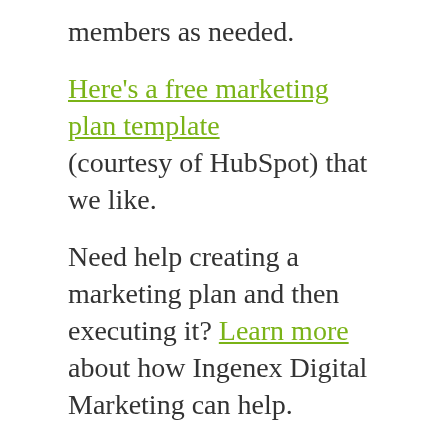members as needed.
Here’s a free marketing plan template (courtesy of HubSpot) that we like.
Need help creating a marketing plan and then executing it? Learn more about how Ingenex Digital Marketing can help.
📁 Content Marketing, Digital Marketing, Inbound Marketing, Social Media Marketing
🏷 Digital Marketing, Marketing,